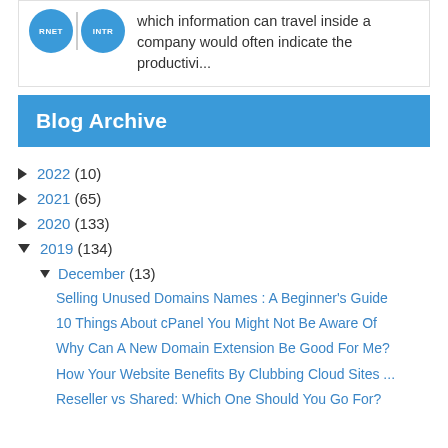which information can travel inside a company would often indicate the productivi...
Blog Archive
► 2022 (10)
► 2021 (65)
► 2020 (133)
▼ 2019 (134)
▼ December (13)
Selling Unused Domains Names : A Beginner's Guide
10 Things About cPanel You Might Not Be Aware Of
Why Can A New Domain Extension Be Good For Me?
How Your Website Benefits By Clubbing Cloud Sites ...
Reseller vs Shared: Which One Should You Go For?